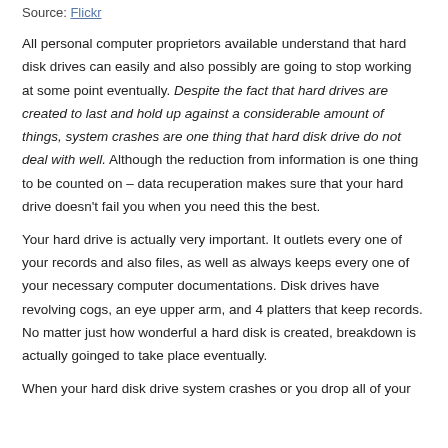Source: Flickr
All personal computer proprietors available understand that hard disk drives can easily and also possibly are going to stop working at some point eventually. Despite the fact that hard drives are created to last and hold up against a considerable amount of things, system crashes are one thing that hard disk drive do not deal with well. Although the reduction from information is one thing to be counted on – data recuperation makes sure that your hard drive doesn't fail you when you need this the best.
Your hard drive is actually very important. It outlets every one of your records and also files, as well as always keeps every one of your necessary computer documentations. Disk drives have revolving cogs, an eye upper arm, and 4 platters that keep records. No matter just how wonderful a hard disk is created, breakdown is actually goinged to take place eventually.
When your hard disk drive system crashes or you drop all of your